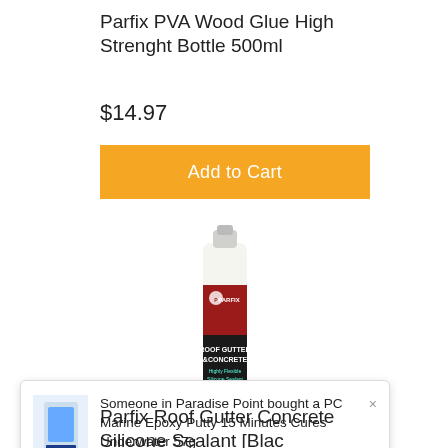Parfix PVA Wood Glue High Strenght Bottle 500ml
$14.97
Add to Cart
[Figure (photo): A tube/bottle of Parfix Roof Gutter & Concrete highly flexible silicone sealant product]
Someone in Paradise Point bought a PC Marine Epoxy Putty 15 Minutes Cures Underwater 57g
3 hours ago
Parfix Roof Gutter Concrete Silicone Sealant [Blac